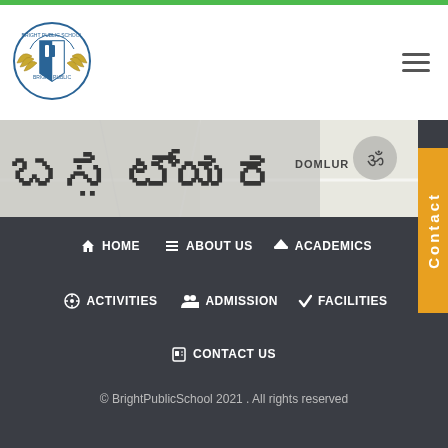[Figure (logo): Bright Public School logo — circular emblem with wings and shield, in white header area]
[Figure (screenshot): Map screenshot showing Domlur area with Kannada script text banner at top, Om symbol visible]
Contact
HOME
ABOUT US
ACADEMICS
ACTIVITIES
ADMISSION
FACILITIES
CONTACT US
© BrightPublicSchool 2021 . All rights reserved